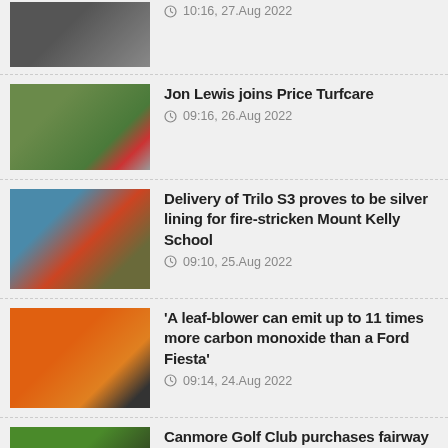10:16, 27.Aug 2022
Jon Lewis joins Price Turfcare
09:16, 26.Aug 2022
Delivery of Trilo S3 proves to be silver lining for fire-stricken Mount Kelly School
09:10, 25.Aug 2022
'A leaf-blower can emit up to 11 times more carbon monoxide than a Ford Fiesta'
09:14, 24.Aug 2022
Canmore Golf Club purchases fairway hybrid mower
08:43, 23.Aug 2022